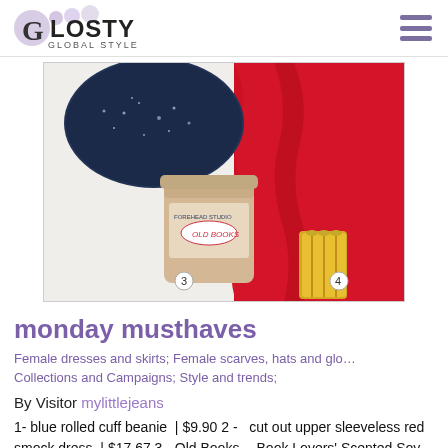Glosty Global Style
[Figure (photo): Fashion collage showing: blue sparkle rolled cuff beanie, red sleeveless smock dress, Old Books scented soy candle 8oz jar with owl illustration, and gold weekday spiral rings. Items numbered 3 and 4 visible.]
monday musthaves
Female dresses and skirts; Female scarves, hats and glo… Collections and Campaigns; Style and trends;
By Visitor mylittlejeans
1- blue rolled cuff beanie | $9.90 2 - cut out upper sleeveless red smock dress | $17.67 3 - Old Books -- Book Lovers' Scented Soy Candle 8oz jar | €13.93 4 - weekday spiral ring | €7.14 Yes!